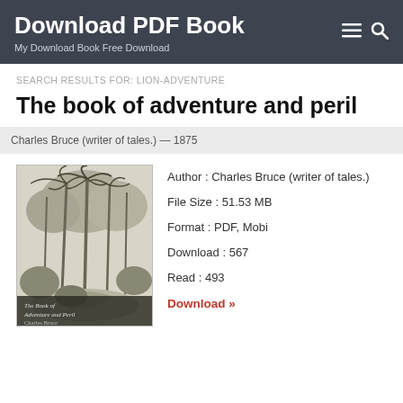Download PDF Book
My Download Book Free Download
SEARCH RESULTS FOR: LION-ADVENTURE
The book of adventure and peril
Charles Bruce (writer of tales.) — 1875
[Figure (illustration): Book cover illustration of The Book of Adventure and Peril by Charles Bruce — tropical jungle scene with tall palm trees and foliage in black and white engraving style, with title text at bottom]
Author : Charles Bruce (writer of tales.)
File Size : 51.53 MB
Format : PDF, Mobi
Download : 567
Read : 493
Download »